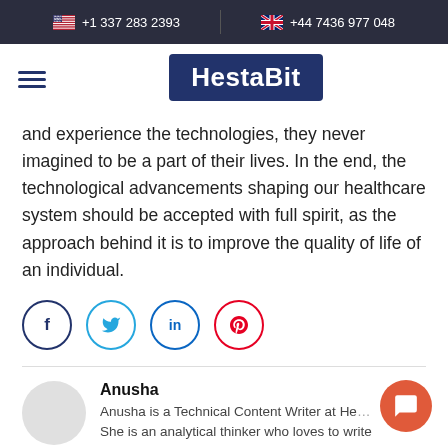+1 337 283 2393   +44 7436 977 048
[Figure (logo): HestaBit logo — white text on dark blue rounded rectangle background]
and experience the technologies, they never imagined to be a part of their lives. In the end, the technological advancements shaping our healthcare system should be accepted with full spirit, as the approach behind it is to improve the quality of life of an individual.
[Figure (infographic): Row of four social share buttons: Facebook (dark blue circle), Twitter (light blue circle), LinkedIn (teal circle), Pinterest (red circle)]
Anusha
Anusha is a Technical Content Writer at He... She is an analytical thinker who loves to write